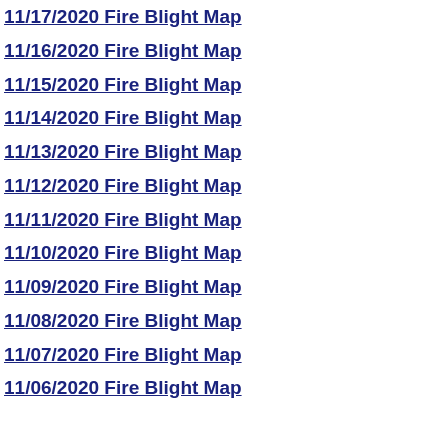11/17/2020 Fire Blight Map
11/16/2020 Fire Blight Map
11/15/2020 Fire Blight Map
11/14/2020 Fire Blight Map
11/13/2020 Fire Blight Map
11/12/2020 Fire Blight Map
11/11/2020 Fire Blight Map
11/10/2020 Fire Blight Map
11/09/2020 Fire Blight Map
11/08/2020 Fire Blight Map
11/07/2020 Fire Blight Map
11/06/2020 Fire Blight Map